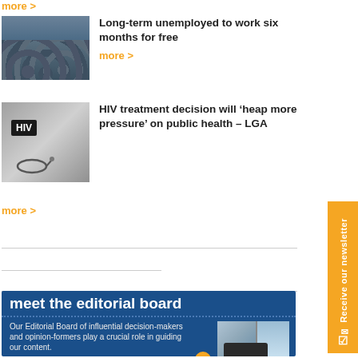more >
[Figure (photo): Photo of a crowd of people seen from behind]
Long-term unemployed to work six months for free
more >
[Figure (photo): Photo showing an HIV sign with stethoscope]
HIV treatment decision will ‘heap more pressure’ on public health – LGA
more >
[Figure (infographic): Editorial board promotional banner with blue background, title 'meet the editorial board', descriptive text, arrow button, and conference room photo]
Receive our newsletter